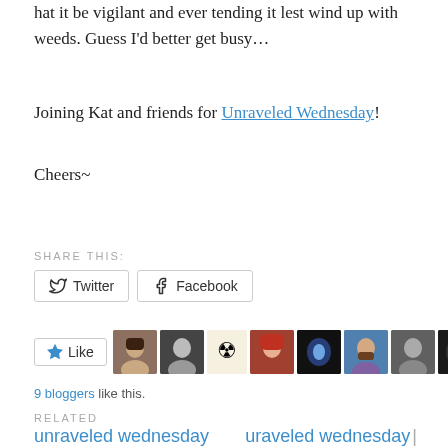hat it be vigilant and ever tending it lest wind up with weeds. Guess I'd better get busy…
Joining Kat and friends for Unraveled Wednesday!
Cheers~
SHARE THIS:
Twitter  Facebook
Like  [blogger avatars]  9 bloggers like this.
RELATED
unraveled wednesday   uraveled wednesday